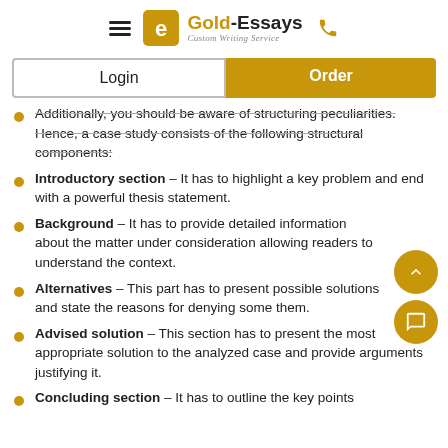Gold-Essays Custom Writing Service
Additionally, you should be aware of structuring peculiarities. Hence, a case study consists of the following structural components:
Introductory section – It has to highlight a key problem and end with a powerful thesis statement.
Background – It has to provide detailed information about the matter under consideration allowing readers to understand the context.
Alternatives – This part has to present possible solutions and state the reasons for denying some them.
Advised solution – This section has to present the most appropriate solution to the analyzed case and provide arguments justifying it.
Concluding section – It has to outline the key points